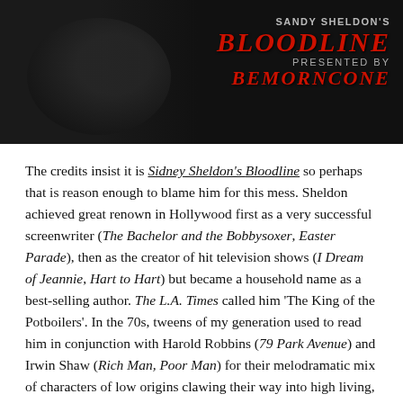[Figure (photo): Dark movie still or promotional image for 'Sidney Sheldon's Bloodline' with stylized red text overlay reading 'BLOODLINE' and 'BEMORNCONE' on a dark background]
The credits insist it is Sidney Sheldon's Bloodline so perhaps that is reason enough to blame him for this mess. Sheldon achieved great renown in Hollywood first as a very successful screenwriter (The Bachelor and the Bobbysoxer, Easter Parade), then as the creator of hit television shows (I Dream of Jeannie, Hart to Hart) but became a household name as a best-selling author. The L.A. Times called him 'The King of the Potboilers'. In the 70s, tweens of my generation used to read him in conjunction with Harold Robbins (79 Park Avenue) and Irwin Shaw (Rich Man, Poor Man) for their melodramatic mix of characters of low origins clawing their way into high living, corporate criminality and purple-y passages of